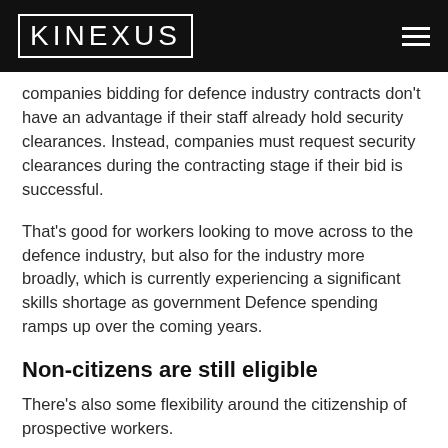KINEXUS
companies bidding for defence industry contracts don't have an advantage if their staff already hold security clearances. Instead, companies must request security clearances during the contracting stage if their bid is successful.
That's good for workers looking to move across to the defence industry, but also for the industry more broadly, which is currently experiencing a significant skills shortage as government Defence spending ramps up over the coming years.
Non-citizens are still eligible
There's also some flexibility around the citizenship of prospective workers.